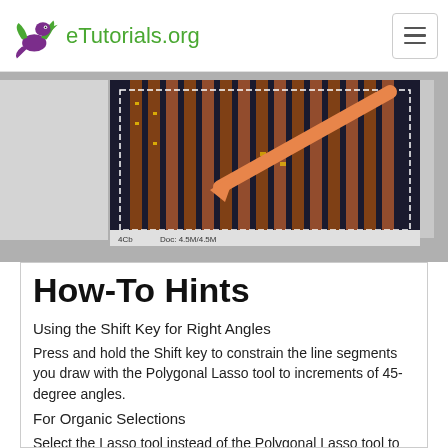eTutorials.org
[Figure (screenshot): Screenshot of a photo editing application showing a building image with an orange arrow annotation pointing to a selection area. The status bar shows 'Doc: 4.5M/4.5M'.]
How-To Hints
Using the Shift Key for Right Angles
Press and hold the Shift key to constrain the line segments you draw with the Polygonal Lasso tool to increments of 45-degree angles.
For Organic Selections
Select the Lasso tool instead of the Polygonal Lasso tool to draw freeform shape selections. You can switch to the Lasso tool from the Polygonal Lasso tool on-the-fly by pressing and holding the Option key (Mac users) or Alt key (Windows users) as you drag freeform shapes. Release the